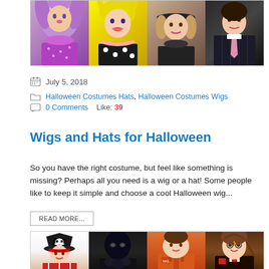[Figure (photo): Four Halloween costume models in a horizontal strip: woman with purple wig and sparkly top, woman with yellow cartoon wig and red lips, woman in witch hat and dark costume, person in dark pinstripe suit with pink tie]
July 5, 2018
Halloween Costumes Hats, Halloween Costumes Wigs
0 Comments   Like: 39
Wigs and Hats for Halloween
So you have the right costume, but feel like something is missing? Perhaps all you need is a wig or a hat! Some people like to keep it simple and choose a cool Halloween wig...
READ MORE...
[Figure (photo): Four children in Halloween costumes: child as pirate with skull hat, child as Black Panther in black suit, child as astronaut in orange jumpsuit, child as Harry Potter with wand and Gryffindor robe]